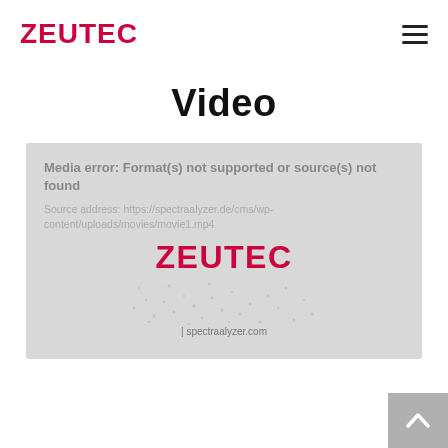ZEUTEC
Video
[Figure (screenshot): Video player area showing a media error message: 'Media error: Format(s) not supported or source(s) not found'. Below the error is a subtitle URL reference, followed by a ZEUTEC logo in red and spectraalyzer.com URL text, overlaid on scattered dot texture suggesting a promotional video thumbnail.]
[Figure (logo): Back to top chevron button in grey at bottom right corner]